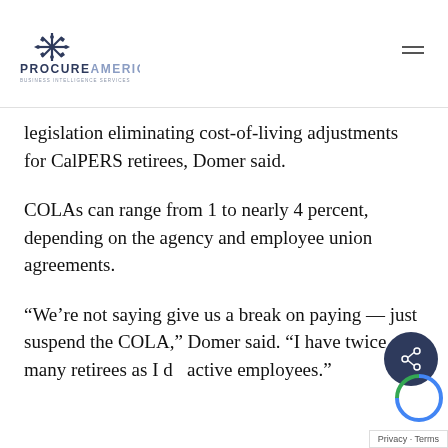ProcureAmerica - Business Intelligence Services
legislation eliminating cost-of-living adjustments for CalPERS retirees, Domer said.
COLAs can range from 1 to nearly 4 percent, depending on the agency and employee union agreements.
“We’re not saying give us a break on paying — just suspend the COLA,” Domer said. “I have twice as many retirees as I do active employees.”